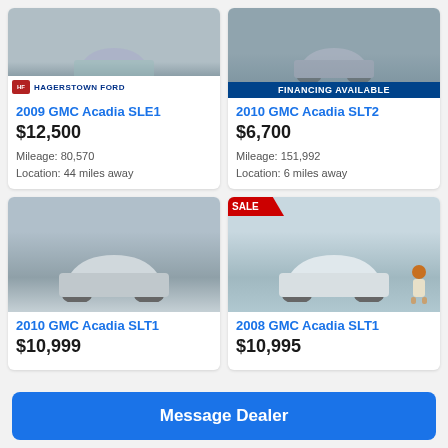[Figure (photo): 2009 GMC Acadia SLE1 vehicle photo with Hagerstown Ford dealer badge]
2009 GMC Acadia SLE1
$12,500
Mileage: 80,570
Location: 44 miles away
[Figure (photo): 2010 GMC Acadia SLT2 vehicle photo with Financing Available banner]
2010 GMC Acadia SLT2
$6,700
Mileage: 151,992
Location: 6 miles away
[Figure (photo): 2010 GMC Acadia SLT1 silver SUV at dealership lot]
2010 GMC Acadia SLT1
$10,999
[Figure (photo): 2008 GMC Acadia SLT1 white SUV with SALE banner and CarFox mascot]
2008 GMC Acadia SLT1
$10,995
Message Dealer